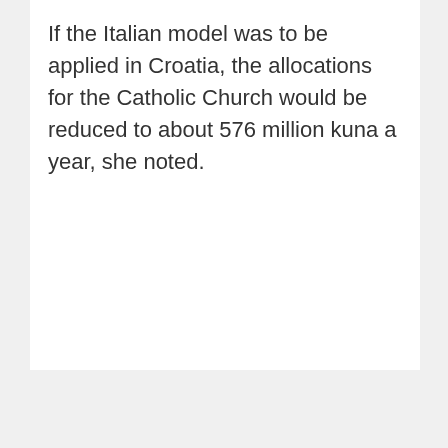If the Italian model was to be applied in Croatia, the allocations for the Catholic Church would be reduced to about 576 million kuna a year, she noted.